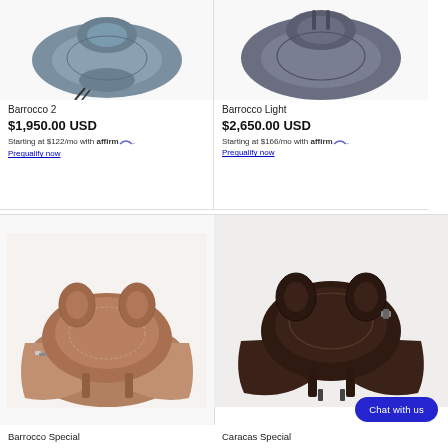[Figure (photo): Horse saddle product photo - Barrocco 2, grey/blue color, top view showing seat and cantle]
Barrocco 2
$1,950.00 USD
Starting at $122/mo with Affirm. Prequalify now
[Figure (photo): Horse saddle product photo - Barrocco Light, dark grey/slate color, top view]
Barrocco Light
$2,650.00 USD
Starting at $166/mo with Affirm. Prequalify now
[Figure (photo): Horse saddle product photo - Barrocco Special, tan/brown leather, front view showing flaps]
Barrocco Special
[Figure (photo): Horse saddle product photo - Caracas Special, dark brown/chocolate leather, front view]
Caracas Special